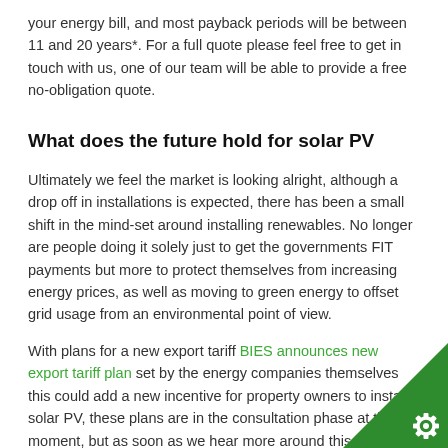your energy bill, and most payback periods will be between 11 and 20 years*. For a full quote please feel free to get in touch with us, one of our team will be able to provide a free no-obligation quote.
What does the future hold for solar PV
Ultimately we feel the market is looking alright, although a drop off in installations is expected, there has been a small shift in the mind-set around installing renewables. No longer are people doing it solely just to get the governments FIT payments but more to protect themselves from increasing energy prices, as well as moving to green energy to offset grid usage from an environmental point of view.
With plans for a new export tariff BIES announces new export tariff plan set by the energy companies themselves this could add a new incentive for property owners to install solar PV, these plans are in the consultation phase at the moment, but as soon as we hear more around this we'll put up a new blog explaining how this is likely to work...watch this space!